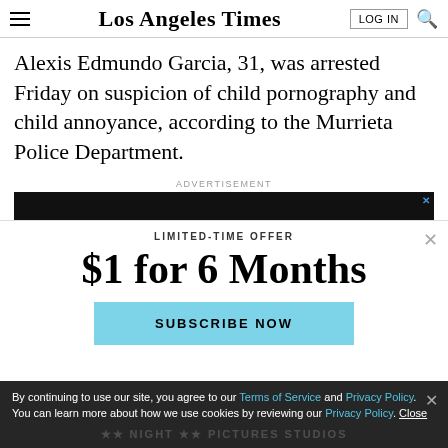Los Angeles Times
Alexis Edmundo Garcia, 31, was arrested Friday on suspicion of child pornography and child annoyance, according to the Murrieta Police Department.
ADVERTISEMENT
[Figure (other): Advertisement banner, black background]
LIMITED-TIME OFFER
$1 for 6 Months
SUBSCRIBE NOW
By continuing to use our site, you agree to our Terms of Service and Privacy Policy. You can learn more about how we use cookies by reviewing our Privacy Policy. Close